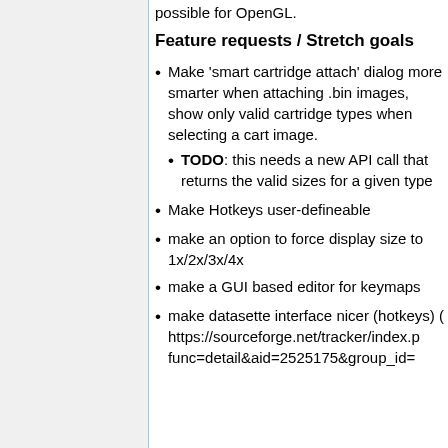possible for OpenGL.
Feature requests / Stretch goals
Make 'smart cartridge attach' dialog more smarter when attaching .bin images, show only valid cartridge types when selecting a cart image.
TODO: this needs a new API call that returns the valid sizes for a given type
Make Hotkeys user-defineable
make an option to force display size to 1x/2x/3x/4x
make a GUI based editor for keymaps
make datasette interface nicer (hotkeys) ( https://sourceforge.net/tracker/index.p func=detail&aid=2525175&group_id=